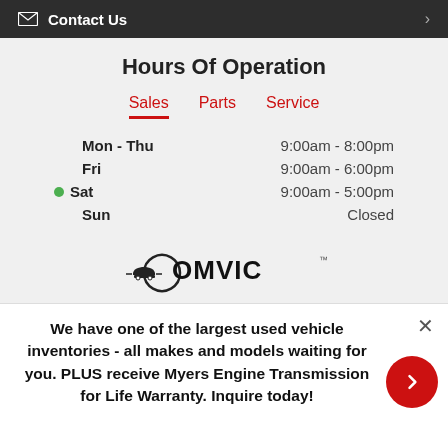Contact Us
Hours Of Operation
Sales | Parts | Service
Mon - Thu  9:00am - 8:00pm
Fri  9:00am - 6:00pm
Sat  9:00am - 5:00pm
Sun  Closed
[Figure (logo): OMVIC logo]
We have one of the largest used vehicle inventories - all makes and models waiting for you. PLUS receive Myers Engine Transmission for Life Warranty. Inquire today!